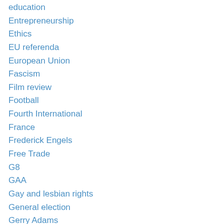education
Entrepreneurship
Ethics
EU referenda
European Union
Fascism
Film review
Football
Fourth International
France
Frederick Engels
Free Trade
G8
GAA
Gay and lesbian rights
General election
Gerry Adams
Greece
health
health service